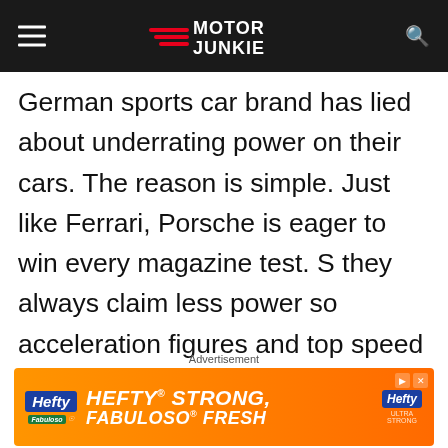Motor Junkie
German sports car brand has lied about underrating power on their cars. The reason is simple. Just like Ferrari, Porsche is eager to win every magazine test. S they always claim less power so acceleration figures and top speed seem more impressive. It is a cheap trick, but it works. Porsche’s trend of lying started in the
Advertisement
[Figure (other): Hefty STRONG, FABULOSO FRESH advertisement banner with orange gradient background]